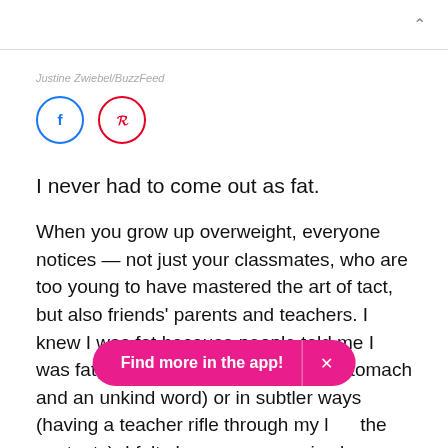Justine Zwiebel/BuzzFeed
[Figure (illustration): Facebook and Pinterest social share icon circles]
I never had to come out as fat.
When you grow up overweight, everyone notices — not just your classmates, who are too young to have mastered the art of tact, but also friends' parents and teachers. I knew I was fat because people told me I was fat, either directly (a slap to the stomach and an unkind word) or in subtler ways (having a teacher rifle through my [bag/belongings] the contents). I felt shame over my size long before I had
Find more in the app!  ×